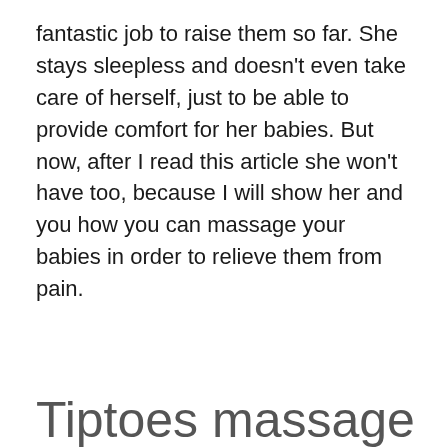fantastic job to raise them so far. She stays sleepless and doesn't even take care of herself, just to be able to provide comfort for her babies. But now, after I read this article she won't have too, because I will show her and you how you can massage your babies in order to relieve them from pain.
Tiptoes massage